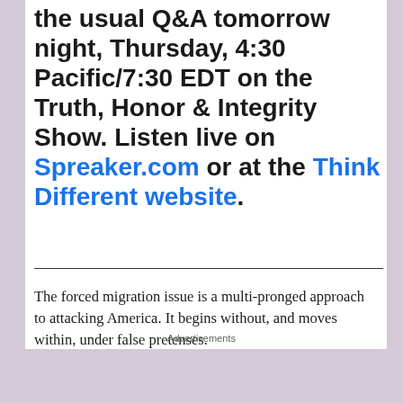the usual Q&A tomorrow night, Thursday, 4:30 Pacific/7:30 EDT on the Truth, Honor & Integrity Show. Listen live on Spreaker.com or at the Think Different website.
The forced migration issue is a multi-pronged approach to attacking America. It begins without, and moves within, under false pretenses.
Soros is a generous benefactor to the illegal aliens. Their worries evaporate when they break into the
Advertisements